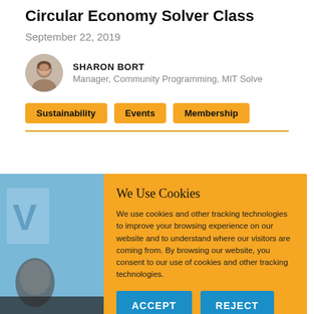Circular Economy Solver Class
September 22, 2019
SHARON BORT
Manager, Community Programming, MIT Solve
Sustainability
Events
Membership
[Figure (photo): Cookie consent overlay on top of a webpage with a photo background. Yellow/amber overlay with title 'We Use Cookies', descriptive text, and two blue buttons labeled ACCEPT and REJECT.]